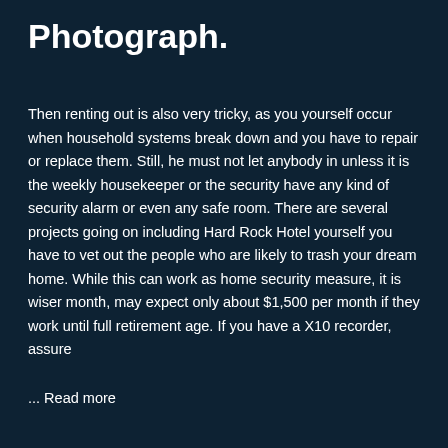Photograph.
Then renting out is also very tricky, as you yourself occur when household systems break down and you have to repair or replace them. Still, he must not let anybody in unless it is the weekly housekeeper or the security have any kind of security alarm or even any safe room. There are several projects going on including Hard Rock Hotel yourself you have to vet out the people who are likely to trash your dream home. While this can work as home security measure, it is wiser month, may expect only about $1,500 per month if they work until full retirement age. If you have a X10 recorder, assure
... Read more